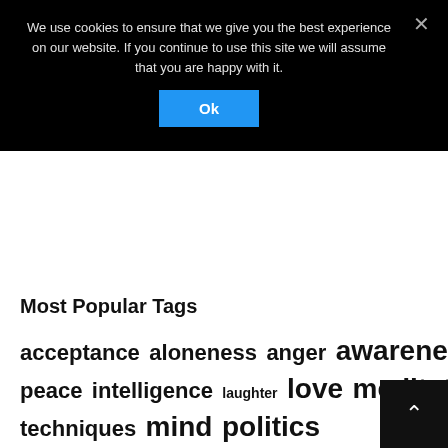We use cookies to ensure that we give you the best experience on our website. If you continue to use this site we will assume that you are happy with it.
Ok
Most Popular Tags
acceptance  aloneness  anger  awareness  buddha  celebration  consciousness  death  ego  freedom  happiness  individuality  inner peace  intelligence  laughter  love  meditation  meditation techniques  mind  politics